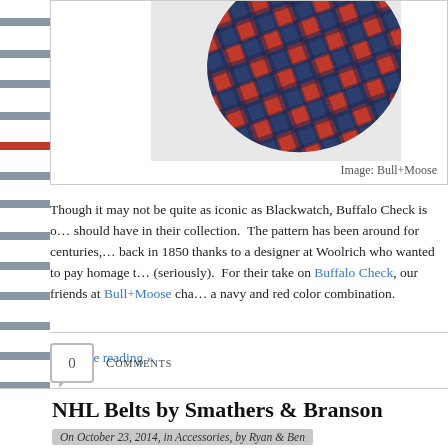[Figure (photo): Close-up photo of navy and red plaid/buffalo check fabric with image caption 'Image: Bull+Moose']
Image: Bull+Moose
Though it may not be quite as iconic as Blackwatch, Buffalo Check is o... should have in their collection.  The pattern has been around for centuries,... back in 1850 thanks to a designer at Woolrich who wanted to pay homage t... (seriously).  For their take on Buffalo Check, our friends at Bull+Moose cha... a navy and red color combination.
Continue reading »
0 Comments
NHL Belts by Smathers & Branson
On October 23, 2014, in Accessories, by Ryan & Ben